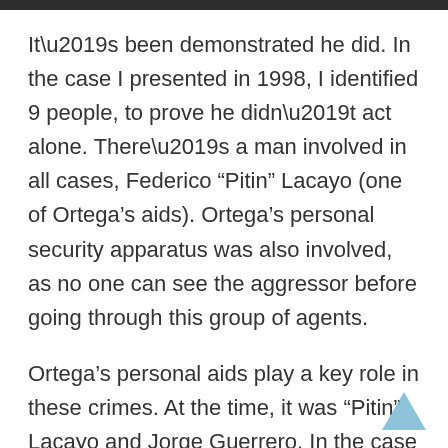It’s been demonstrated he did. In the case I presented in 1998, I identified 9 people, to prove he didn’t act alone. There’s a man involved in all cases, Federico “Pitin” Lacayo (one of Ortega’s aids). Ortega’s personal security apparatus was also involved, as no one can see the aggressor before going through this group of agents.
Ortega’s personal aids play a key role in these crimes. At the time, it was “Pitin” Lacayo and Jorge Guerrero. In the case file, which wasn’t pursued because the judge